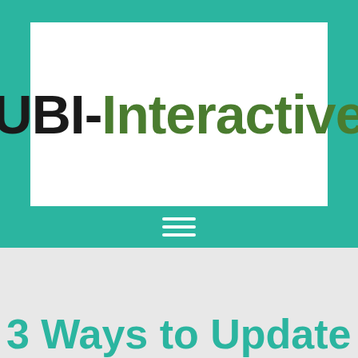[Figure (logo): UBI-Interactive logo: 'UBI' in bold black and '-Interactive' in bold dark green on a white rectangle background, set against a teal/turquoise header background with a hamburger menu icon below]
3 Ways to Update Your